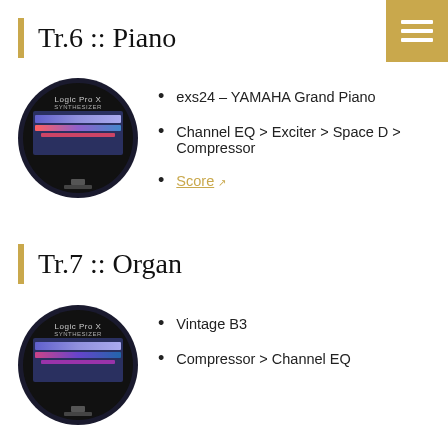Tr.6 :: Piano
[Figure (photo): Circular cropped screenshot of Logic Pro X software interface on an iMac]
exs24 – YAMAHA Grand Piano
Channel EQ > Exciter > Space D > Compressor
Score (external link)
Tr.7 :: Organ
[Figure (photo): Circular cropped screenshot of Logic Pro X software interface on an iMac]
Vintage B3
Compressor > Channel EQ